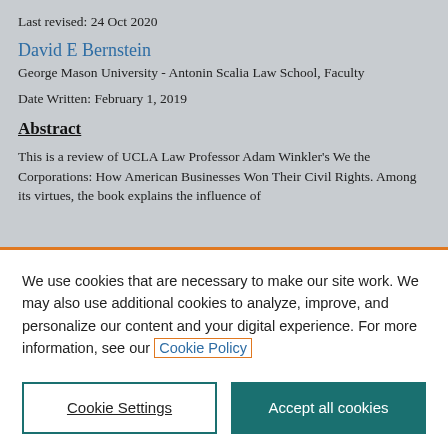Last revised: 24 Oct 2020
David E Bernstein
George Mason University - Antonin Scalia Law School, Faculty
Date Written: February 1, 2019
Abstract
This is a review of UCLA Law Professor Adam Winkler's We the Corporations: How American Businesses Won Their Civil Rights. Among its virtues, the book explains the influence of
We use cookies that are necessary to make our site work. We may also use additional cookies to analyze, improve, and personalize our content and your digital experience. For more information, see our Cookie Policy
Cookie Settings
Accept all cookies